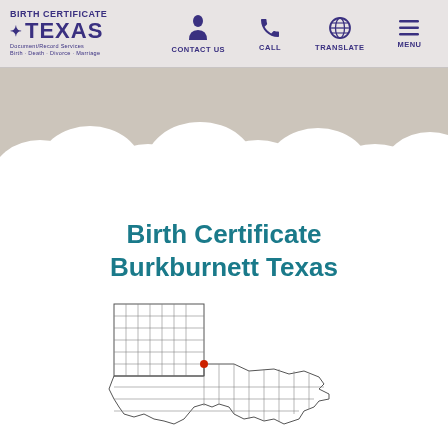Birth Certificate Texas — Document/Record Services: Birth, Death, Divorce, Marriage — Navigation: CONTACT US, CALL, TRANSLATE, MENU
[Figure (illustration): Decorative clouds banner with beige/grey cloud shapes along the top of the page content area]
Birth Certificate Burkburnett Texas
[Figure (map): Outline map of Texas showing county grid with a red dot marking Burkburnett in north Texas (Wichita County area near Oklahoma border)]